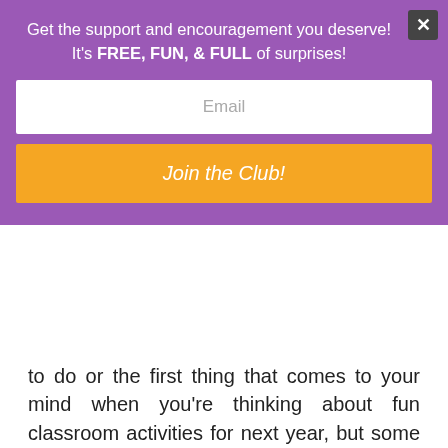Get the support and encouragement you deserve! It's FREE, FUN, & FULL of surprises!
Email
Join the Club!
to do or the first thing that comes to your mind when you're thinking about fun classroom activities for next year, but some of these oldies but goodies are still as much fun as ever once you give them a try.
Kids Project – Try out a game that was played thousands of years ago. Both marbles and jacks fit that category and can still be found in toy stores, and both are fun to play with friends and to practice on your own.